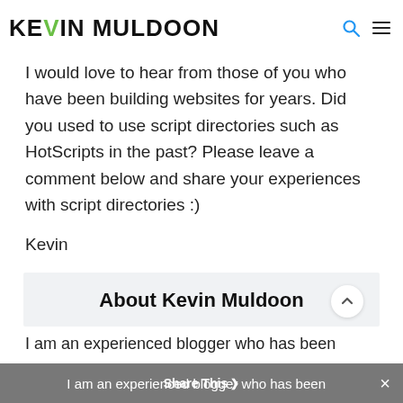Kevin Muldoon
I would love to hear from those of you who have been building websites for years. Did you used to use script directories such as HotScripts in the past? Please leave a comment below and share your experiences with script directories :)
Kevin
About Kevin Muldoon
I am an experienced blogger who has been
Share This